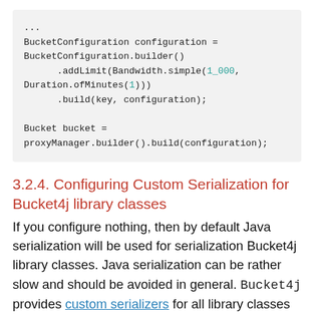[Figure (other): Code block showing BucketConfiguration and Bucket setup in Java using Bucket4j builder pattern.]
3.2.4. Configuring Custom Serialization for Bucket4j library classes
If you configure nothing, then by default Java serialization will be used for serialization Bucket4j library classes. Java serialization can be rather slow and should be avoided in general. Bucket4j provides custom serializers for all library classes that could be transferred over the network. To let Hazelcast know about fast serializers you should